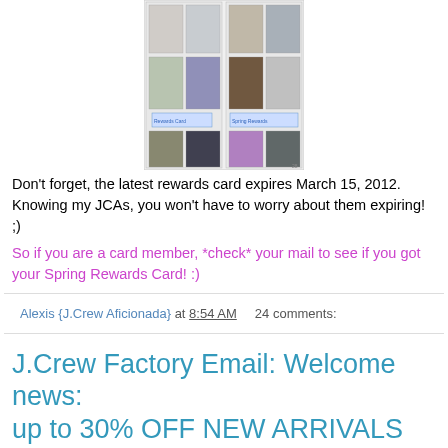[Figure (photo): Two panels showing fashion clothing items (outfits on hangers or figures), arranged in a grid]
Don't forget, the latest rewards card expires March 15, 2012. Knowing my JCAs, you won't have to worry about them expiring! ;)
So if you are a card member, *check* your mail to see if you got your Spring Rewards Card! :)
Alexis {J.Crew Aficionada} at 8:54 AM    24 comments:
J.Crew Factory Email: Welcome news: up to 30% OFF NEW ARRIVALS